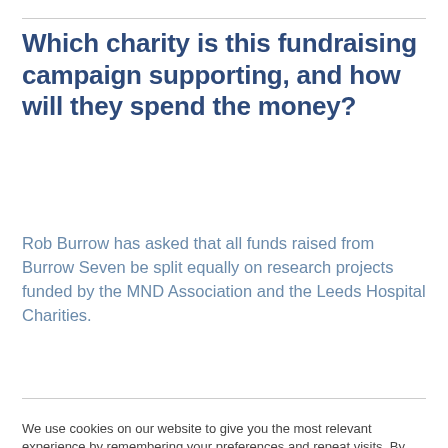Which charity is this fundraising campaign supporting, and how will they spend the money?
Rob Burrow has asked that all funds raised from Burrow Seven be split equally on research projects funded by the MND Association and the Leeds Hospital Charities.
We use cookies on our website to give you the most relevant experience by remembering your preferences and repeat visits. By clicking “Accept”, you consent to the use of ALL the cookies.